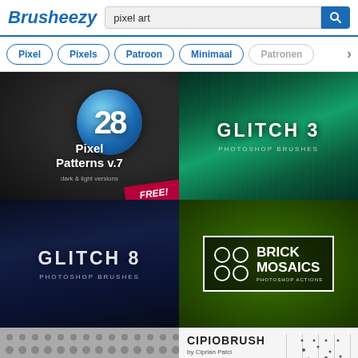Brusheezy — pixel art search
Pixel
Pixels
Patroon
Minimaal
Patronen
[Figure (screenshot): 28 Pixel Patterns v.7 dark & light versions – FREE! thumbnail]
[Figure (screenshot): Glitch 3 Photoshop Brushes thumbnail with teal/green streaked background]
[Figure (screenshot): Glitch 8 Photoshop Brushes thumbnail with dark blue streaked background]
[Figure (screenshot): Brick Mosaics Photoshop Actions thumbnail with green pixel background]
[Figure (screenshot): Dotted halftone pattern thumbnail in grayscale]
[Figure (screenshot): CIPIOBRUSH by Ciprian Patci brush set thumbnail]